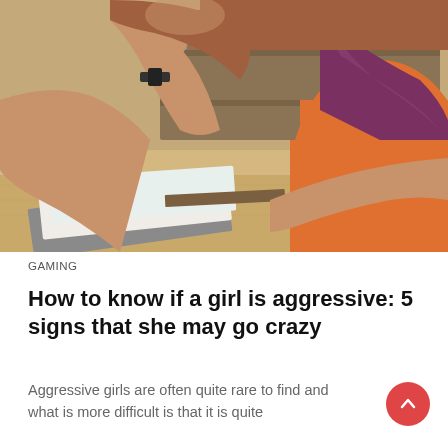[Figure (photo): A young woman wearing an orange t-shirt and a dark purple/maroon scarf or wrap, sitting at a light wooden desk. She has reddish-brown hair pulled back. Her hands are raised near her face. On the desk are notebooks, folders, and some small objects including a pink eraser. Bookshelves are visible in the blurred background.]
GAMING
How to know if a girl is aggressive: 5 signs that she may go crazy
Aggressive girls are often quite rare to find and what is more difficult is that it is quite